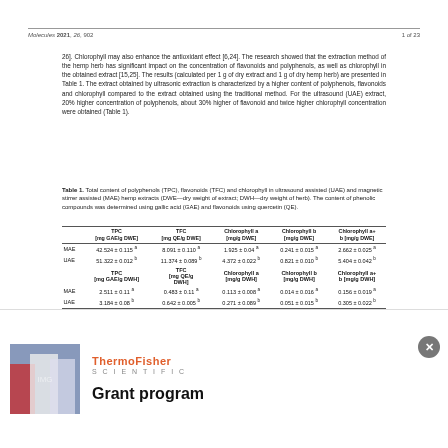Molecules 2021, 26, 902 | 1 of 23
26]. Chlorophyll may also enhance the antioxidant effect [6,24]. The research showed that the extraction method of the hemp herb has significant impact on the concentration of flavonoids and polyphenols, as well as chlorophyll in the obtained extract [15,25]. The results (calculated per 1 g of dry extract and 1 g of dry hemp herb) are presented in Table 1. The extract obtained by ultrasonic extraction is characterized by a higher content of polyphenols, flavonoids and chlorophyll compared to the extract obtained using the traditional method. For the ultrasound (UAE) extract, 20% higher concentration of polyphenols, about 30% higher of flavonoid and twice higher chlorophyll concentration were obtained (Table 1).
Table 1. Total content of polyphenols (TPC), flavonoids (TFC) and chlorophyll in ultrasound assisted (UAE) and magnetic stirrer assisted (MAE) hemp extracts (DWE—dry weight of extract; DWH—dry weight of herb). The content of phenolic compounds was determined using gallic acid (GAE) and flavonoids using quercetin (QE).
|  | TPC [mg GAE/g DWE] | TFC [mg QE/g DWE] | Chlorophyll a [mg/g DWE] | Chlorophyll b [mg/g DWE] | Chlorophyll a+b [mg/g DWE] |
| --- | --- | --- | --- | --- | --- |
| MAE | 42.524 ± 0.115 a | 8.091 ± 0.110 a | 1.925 ± 0.04 a | 0.241 ± 0.015 a | 2.662 ± 0.025 a |
| UAE | 51.322 ± 0.012 b | 11.374 ± 0.089 b | 4.372 ± 0.022 b | 0.821 ± 0.010 b | 5.404 ± 0.042 b |
| MAE | 2.511 ± 0.11 a | 0.483 ± 0.11 a | 0.113 ± 0.008 a | 0.014 ± 0.016 a | 0.156 ± 0.019 a |
| UAE | 3.184 ± 0.08 b | 0.642 ± 0.005 b | 0.271 ± 0.089 b | 0.051 ± 0.015 b | 0.305 ± 0.022 b |
a Different letters in the table indicate significant differences between groups (p <0.05).
Concentration of active ingredients in hemp extract depends on the extraction method, temperature, a type of solvent, as well as the part and variety of the plant from which they are obtained. As shown in previous studies [27–32], the total content of phenols per 1 g of dried plant is determined by about 0.09–0.56 mg in hemp leaves, 4.7–8.1 mg in flowers, 0.77–51.6 mg in seeds and 11.01–52.38 mg in inflorescences. In the research